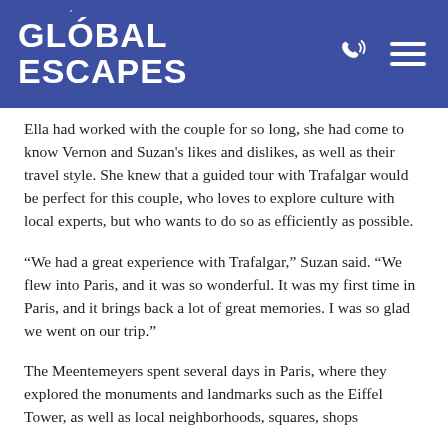GLOBAL ESCAPES
Ella had worked with the couple for so long, she had come to know Vernon and Suzan's likes and dislikes, as well as their travel style. She knew that a guided tour with Trafalgar would be perfect for this couple, who loves to explore culture with local experts, but who wants to do so as efficiently as possible.
“We had a great experience with Trafalgar,” Suzan said. “We flew into Paris, and it was so wonderful. It was my first time in Paris, and it brings back a lot of great memories. I was so glad we went on our trip.”
The Meentemeyers spent several days in Paris, where they explored the monuments and landmarks such as the Eiffel Tower, as well as local neighborhoods, squares, shops